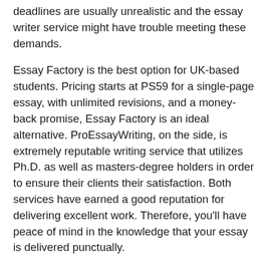deadlines are usually unrealistic and the essay writer service might have trouble meeting these demands.
Essay Factory is the best option for UK-based students. Pricing starts at PS59 for a single-page essay, with unlimited revisions, and a money-back promise, Essay Factory is an ideal alternative. ProEssayWriting, on the side, is extremely reputable writing service that utilizes Ph.D. as well as masters-degree holders in order to ensure their clients their satisfaction. Both services have earned a good reputation for delivering excellent work. Therefore, you'll have peace of mind in the knowledge that your essay is delivered punctually.
Costs for writing essays vary based upon the difficulty grade. The simplest essays, including ones that need basic analysis, cost less over those that need a detailed analysis. Simple essays are cheaper for students. Although easy essays are located on various platforms, more difficult papers will require detailed research and an exact